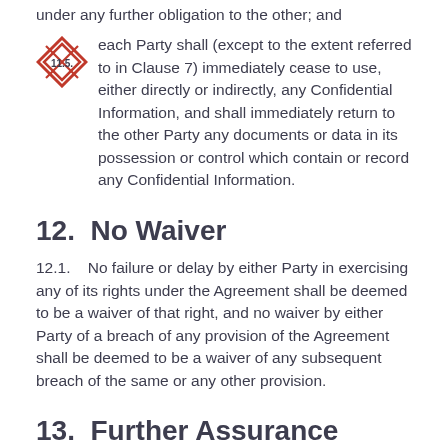under any further obligation to the other; and
11.5. each Party shall (except to the extent referred to in Clause 7) immediately cease to use, either directly or indirectly, any Confidential Information, and shall immediately return to the other Party any documents or data in its possession or control which contain or record any Confidential Information.
12.  No Waiver
12.1.    No failure or delay by either Party in exercising any of its rights under the Agreement shall be deemed to be a waiver of that right, and no waiver by either Party of a breach of any provision of the Agreement shall be deemed to be a waiver of any subsequent breach of the same or any other provision.
13.  Further Assurance